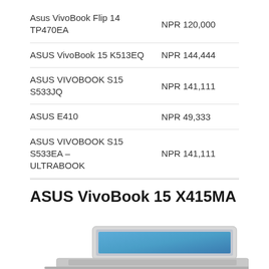| Product | Price |
| --- | --- |
| Asus VivoBook Flip 14 TP470EA | NPR 120,000 |
| ASUS VivoBook 15 K513EQ | NPR 144,444 |
| ASUS VIVOBOOK S15 S533JQ | NPR 141,111 |
| ASUS E410 | NPR 49,333 |
| ASUS VIVOBOOK S15 S533EA – ULTRABOOK | NPR 141,111 |
ASUS VivoBook 15 X415MA
[Figure (photo): Partially visible laptop computer (ASUS VivoBook 15 X415MA) showing the screen and body from a front-angle perspective, cropped at the bottom of the page.]